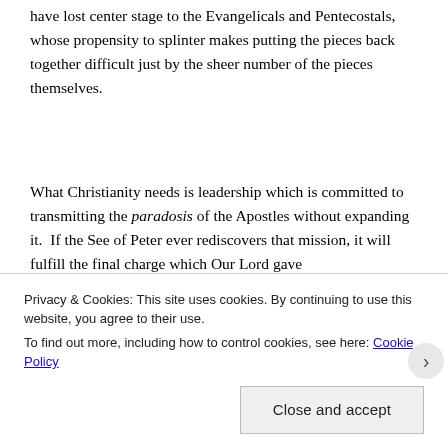have lost center stage to the Evangelicals and Pentecostals, whose propensity to splinter makes putting the pieces back together difficult just by the sheer number of the pieces themselves.
What Christianity needs is leadership which is committed to transmitting the paradosis of the Apostles without expanding it.  If the See of Peter ever rediscovers that mission, it will fulfill the final charge which Our Lord gave
Privacy & Cookies: This site uses cookies. By continuing to use this website, you agree to their use.
To find out more, including how to control cookies, see here: Cookie Policy
Close and accept